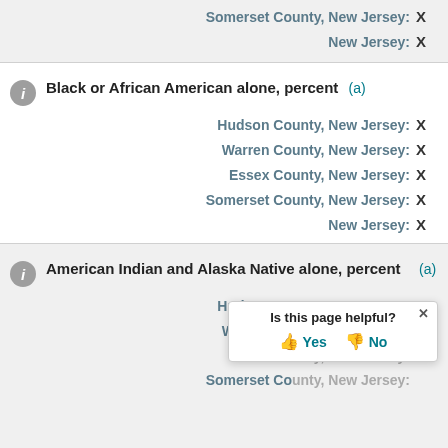Somerset County, New Jersey: X
New Jersey: X
Black or African American alone, percent (a)
Hudson County, New Jersey: X
Warren County, New Jersey: X
Essex County, New Jersey: X
Somerset County, New Jersey: X
New Jersey: X
American Indian and Alaska Native alone, percent (a)
Hudson County, New Jersey: X
Warren County, New Jersey: X
Essex County, New Jersey: X
Somerset County, New Jersey: X
[Figure (other): Is this page helpful? Yes / No feedback tooltip overlay]